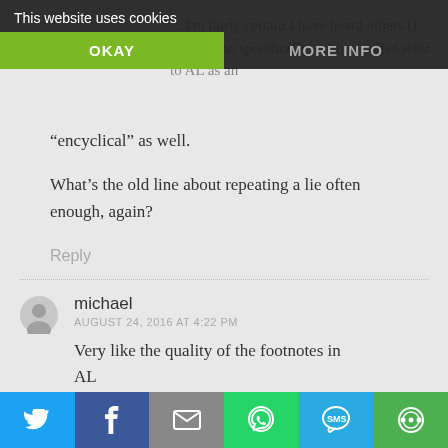This website uses cookies | OKAY | MORE INFO
…I'm fairly certain I have heard others (I forget who specifically) within …also refer to AL as an
“encyclical” as well.

What’s the old line about repeating a lie often enough, again?
Reply
michael
AUGUST 24, 2016 AT 4:22 PM

Very like the quality of the footnotes in AL
Twitter | Facebook | Email | WhatsApp | SMS | Other